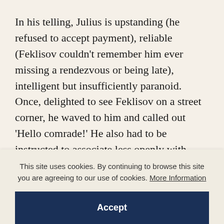In his telling, Julius is upstanding (he refused to accept payment), reliable (Feklisov couldn't remember him ever missing a rendezvous or being late), intelligent but insufficiently paranoid. Once, delighted to see Feklisov on a street corner, he waved to him and called out 'Hello comrade!' He also had to be instructed to associate less openly with party members, to stop attending rallies for the Red Army, and to cancel his subscriptions to left-wing newsletters. He was allowed to keep
This site uses cookies. By continuing to browse this site you are agreeing to our use of cookies. More Information
Accept